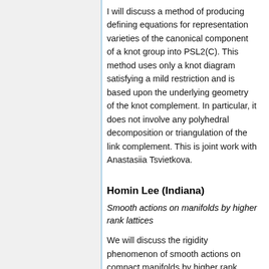I will discuss a method of producing defining equations for representation varieties of the canonical component of a knot group into PSL2(C). This method uses only a knot diagram satisfying a mild restriction and is based upon the underlying geometry of the knot complement. In particular, it does not involve any polyhedral decomposition or triangulation of the link complement. This is joint work with Anastasiia Tsvietkova.
Homin Lee (Indiana)
Smooth actions on manifolds by higher rank lattices
We will discuss the rigidity phenomenon of smooth actions on compact manifolds by higher rank lattices such as